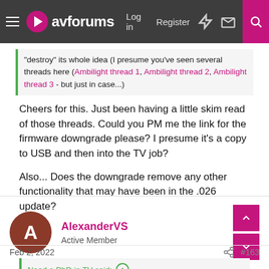avforums — Log in | Register
"destroy" its whole idea (I presume you've seen several threads here (Ambilight thread 1, Ambilight thread 2, Ambilight thread 3 - but just in case...)
Cheers for this. Just been having a little skim read of those threads. Could you PM me the link for the firmware downgrade please? I presume it's a copy to USB and then into the TV job?
Also... Does the downgrade remove any other functionality that may have been in the .026 update?
AlexanderVS — Active Member
Feb 2, 2022  #163
Need a PhD in TV said: Cheers for this. Just been having a little skim read of those threads. Could you PM me the link for the firmware downgrade please? I